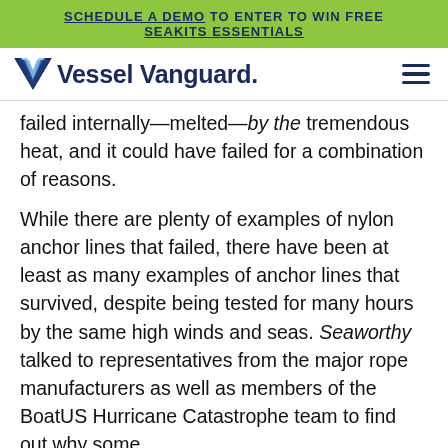SCHEDULE A DEMO TO ENTER TO WIN FREE SEAKITS ESSENTIALS
[Figure (logo): Vessel Vanguard logo with V chevron icon and hamburger menu icon]
failed internally—melted—by the tremendous heat, and it could have failed for a combination of reasons.
While there are plenty of examples of nylon anchor lines that failed, there have been at least as many examples of anchor lines that survived, despite being tested for many hours by the same high winds and seas. Seaworthy talked to representatives from the major rope manufacturers as well as members of the BoatUS Hurricane Catastrophe team to find out why some